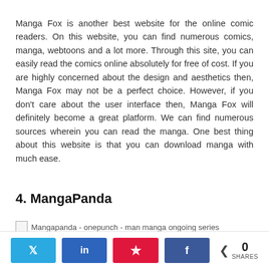Manga Fox is another best website for the online comic readers. On this website, you can find numerous comics, manga, webtoons and a lot more. Through this site, you can easily read the comics online absolutely for free of cost. If you are highly concerned about the design and aesthetics then, Manga Fox may not be a perfect choice. However, if you don't care about the user interface then, Manga Fox will definitely become a great platform. We can find numerous sources wherein you can read the manga. One best thing about this website is that you can download manga with much ease.
4. MangaPanda
[Figure (photo): Broken image placeholder labeled: Mangapanda - onepunch - man manga ongoing series]
Social share buttons: Twitter, LinkedIn, Pinterest, Facebook. Share count: 0 SHARES